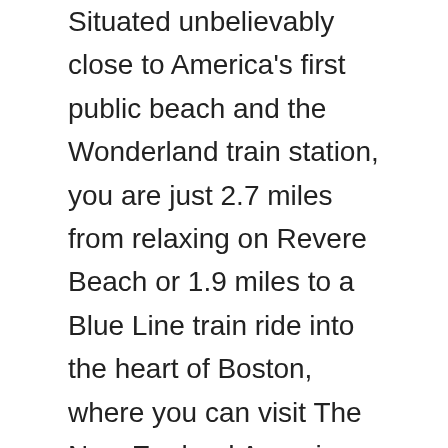Situated unbelievably close to America's first public beach and the Wonderland train station, you are just 2.7 miles from relaxing on Revere Beach or 1.9 miles to a Blue Line train ride into the heart of Boston, where you can visit The New England Aquarium, take a walk through Faneuil Hall Marketplace, or dine in Boston's famous North End.
With a tremendous location, the Carlyle House is only a 1/2 mile from the Northgate Shopping Plaza, 1 mile from Stop & Shop, a 3-minute walk to BJ's, less than .5 miles to IHOP and other delicious restaurants, and convenient to bus routes to both the Blue Line and Orange Line